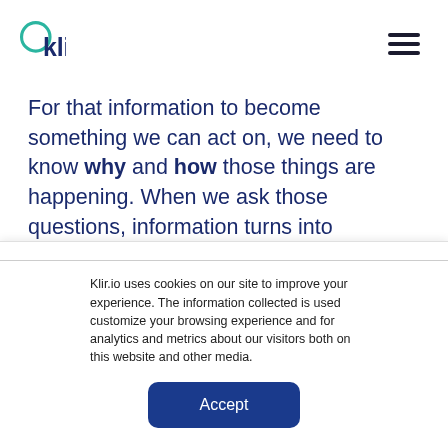klir™
For that information to become something we can act on, we need to know why and how those things are happening. When we ask those questions, information turns into knowledge and wisdom.
In the water world, this part of the DIKW
Klir.io uses cookies on our site to improve your experience. The information collected is used customize your browsing experience and for analytics and metrics about our visitors both on this website and other media.
Accept